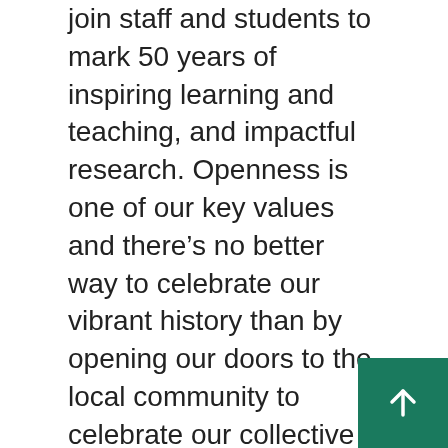join staff and students to mark 50 years of inspiring learning and teaching, and impactful research. Openness is one of our key values and there's no better way to celebrate our vibrant history than by opening our doors to the local community to celebrate our collective heritage.
“At Stirling we encourage people to open their minds and make a real difference in the world. I hope today’s activities showcasing Stirling over the last half century has fascinated, inspired and enthused our visitors.”